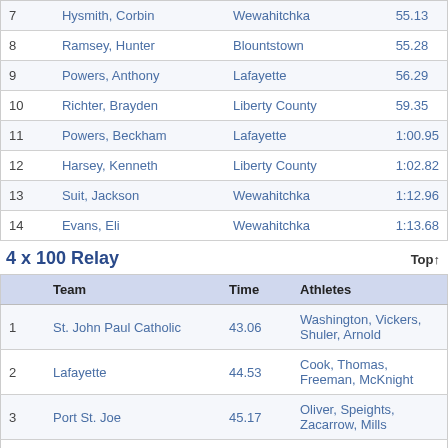|  | Name | School | Time |
| --- | --- | --- | --- |
| 7 | Hysmith, Corbin | Wewahitchka | 55.13 |
| 8 | Ramsey, Hunter | Blountstown | 55.28 |
| 9 | Powers, Anthony | Lafayette | 56.29 |
| 10 | Richter, Brayden | Liberty County | 59.35 |
| 11 | Powers, Beckham | Lafayette | 1:00.95 |
| 12 | Harsey, Kenneth | Liberty County | 1:02.82 |
| 13 | Suit, Jackson | Wewahitchka | 1:12.96 |
| 14 | Evans, Eli | Wewahitchka | 1:13.68 |
4 x 100 Relay
|  | Team | Time | Athletes |
| --- | --- | --- | --- |
| 1 | St. John Paul Catholic | 43.06 | Washington, Vickers, Shuler, Arnold |
| 2 | Lafayette | 44.53 | Cook, Thomas, Freeman, McKnight |
| 3 | Port St. Joe | 45.17 | Oliver, Speights, Zacarrow, Mills |